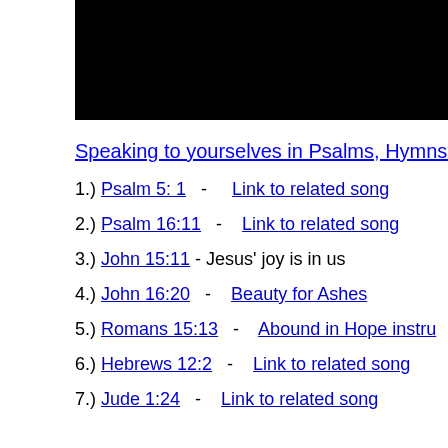Speaking to yourselves in Psalms, Hymns and
1.) Psalm 5: 1  -   Link to related song
2.) Psalm 16:11  -   Link to related song
3.) John 15:11 - Jesus' joy is in us
4.) John 16:20  -   Beauty for Ashes
5.) Romans 15:13  -   Abound in Hope instru
6.) Hebrews 12:2  -   Link to related song
7.) Jude 1:24  -   Link to related song